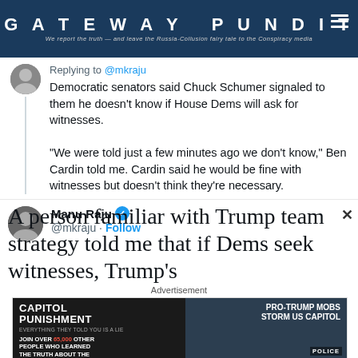GATEWAY PUNDIT — We report the truth — and leave the Russia-Collusion fairy tale to the Conspiracy media
Replying to @mkraju
Democratic senators said Chuck Schumer signaled to them he doesn't know if House Dems will ask for witnesses.

"We were told just a few minutes ago we don't know," Ben Cardin told me. Cardin said he would be fine with witnesses but doesn't think they're necessary.
Manu Raju @mkraju · Follow
A person familiar with Trump team strategy told me that if Dems seek witnesses, Trump's
Advertisement
[Figure (screenshot): Capitol Punishment advertisement: Join over 65,000 other people who learned the truth about the January 6th Capitol. Watch Now. Pro-Trump Mobs Storm US Capitol.]